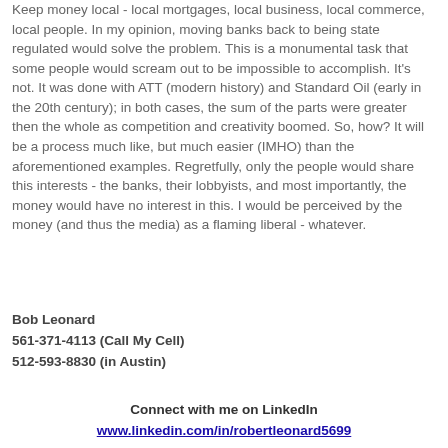Keep money local - local mortgages, local business, local commerce, local people.  In my opinion, moving banks back to being state regulated would solve the problem.  This is a monumental task that some people would scream out to be impossible to accomplish. It's not.  It was done with ATT (modern history)  and Standard Oil (early in the 20th century); in both cases, the sum of the parts were greater then the whole as competition and creativity boomed.  So, how?  It will be a process much like, but much easier (IMHO) than the aforementioned examples.  Regretfully, only the people would share this interests - the banks, their lobbyists, and most importantly, the money would have no interest in this.  I would be perceived by the money (and thus the media) as a flaming liberal - whatever.
Bob Leonard
561-371-4113 (Call My Cell)
512-593-8830 (in Austin)
Connect with me on LinkedIn
www.linkedin.com/in/robertleonard5699